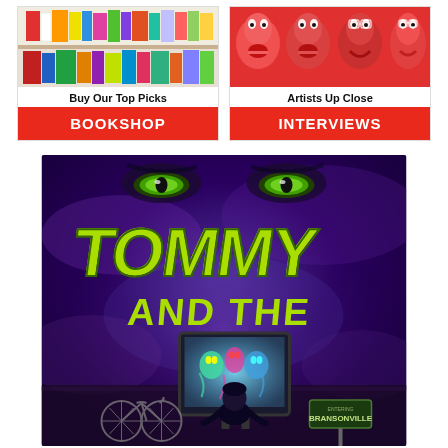[Figure (illustration): Advertisement banner for a bookshop. Shows colorful book spines on a shelf with text 'Buy Our Top Picks' and a red button labeled 'BOOKSHOP'.]
[Figure (illustration): Advertisement banner for interviews section. Shows red-tinted faces of people with text 'Artists Up Close' and a red button labeled 'INTERVIEWS'.]
[Figure (illustration): Book cover image for 'Tommy and the...' showing a dark purple/cosmic background with glowing monster eyes, a child sitting in front of a glowing TV screen with monsters visible inside, a bicycle, and a street sign reading 'Bransonville'. The title 'TOMMY AND THE' is written in large green brushstroke letters.]